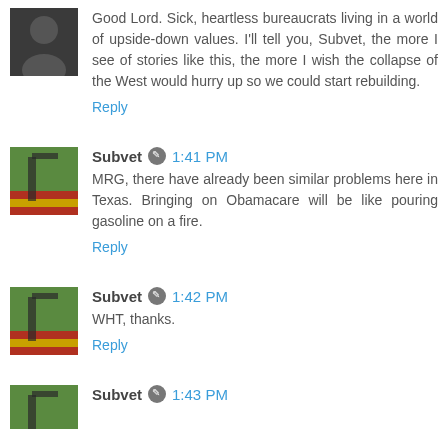Good Lord. Sick, heartless bureaucrats living in a world of upside-down values. I'll tell you, Subvet, the more I see of stories like this, the more I wish the collapse of the West would hurry up so we could start rebuilding.
Reply
Subvet 1:41 PM
MRG, there have already been similar problems here in Texas. Bringing on Obamacare will be like pouring gasoline on a fire.
Reply
Subvet 1:42 PM
WHT, thanks.
Reply
Subvet 1:43 PM